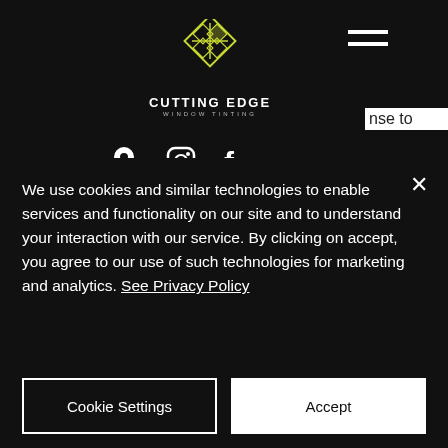[Figure (logo): Cutting Edge Window Tinting logo with diamond/rhombus geometric shape in yellow-green outline on black background, with company name below]
[Figure (other): Hamburger menu icon (three horizontal lines) on black background, top right]
[Figure (other): Social media icons row: map pin, Instagram, Facebook in white on black background]
Call Now
New! Tint Simulator
nse to
of
Testosterone is one of the main
We use cookies and similar technologies to enable services and functionality on our site and to understand your interaction with our service. By clicking on accept, you agree to our use of such technologies for marketing and analytics. See Privacy Policy
Cookie Settings
Accept